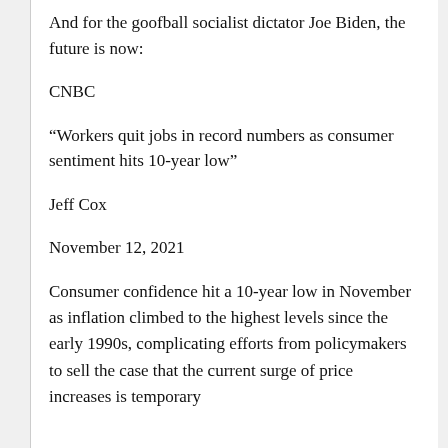And for the goofball socialist dictator Joe Biden, the future is now:
CNBC
“Workers quit jobs in record numbers as consumer sentiment hits 10-year low”
Jeff Cox
November 12, 2021
Consumer confidence hit a 10-year low in November as inflation climbed to the highest levels since the early 1990s, complicating efforts from policymakers to sell the case that the current surge of price increases is temporary